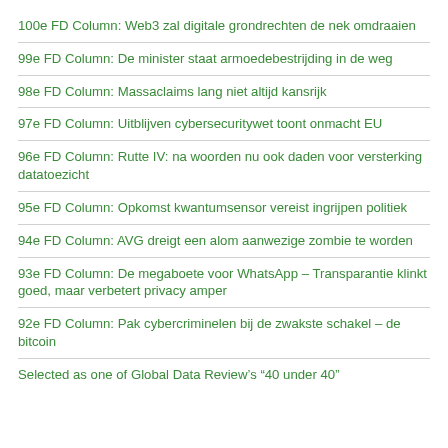100e FD Column: Web3 zal digitale grondrechten de nek omdraaien
99e FD Column: De minister staat armoedebestrijding in de weg
98e FD Column: Massaclaims lang niet altijd kansrijk
97e FD Column: Uitblijven cybersecuritywet toont onmacht EU
96e FD Column: Rutte IV: na woorden nu ook daden voor versterking datatoezicht
95e FD Column: Opkomst kwantumsensor vereist ingrijpen politiek
94e FD Column: AVG dreigt een alom aanwezige zombie te worden
93e FD Column: De megaboete voor WhatsApp – Transparantie klinkt goed, maar verbetert privacy amper
92e FD Column: Pak cybercriminelen bij de zwakste schakel – de bitcoin
Selected as one of Global Data Review's “40 under 40”